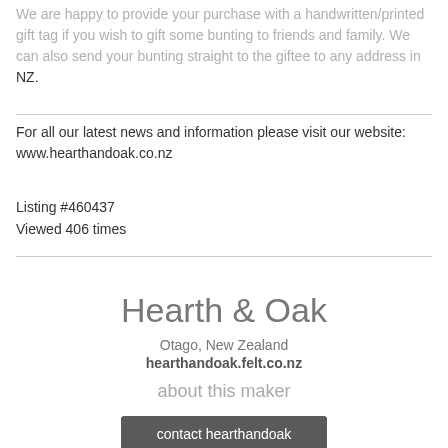We are happy to provide your purchase with a handwritten/printed gift tag if you wish to gift some bunting to friends and family. We can also send your bunting straight to the giftee to any address in NZ.
For all our latest news and information please visit our website: www.hearthandoak.co.nz
Listing #460437
Viewed 406 times
Hearth & Oak
Otago, New Zealand
hearthandoak.felt.co.nz
about this maker
contact hearthandoak